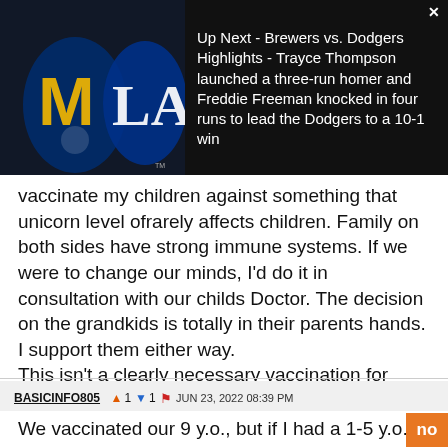[Figure (screenshot): Video ad overlay showing Brewers vs Dodgers logos on dark background with text: 'Up Next - Brewers vs. Dodgers Highlights - Trayce Thompson launched a three-run homer and Freddie Freeman knocked in four runs to lead the Dodgers to a 10-1 win']
vaccinate my children against something that unicorn level ofrarely affects children. Family on both sides have strong immune systems. If we were to change our minds, I'd do it in consultation with our childs Doctor. The decision on the grandkids is totally in their parents hands. I support them either way.
This isn't a clearly necessary vaccination for children under 12 much less under 5
BASICINFO805  ▲1  ▼1  🏴  JUN 23, 2022 08:39 PM
We vaccinated our 9 y.o., but if I had a 1-5 y.o. no